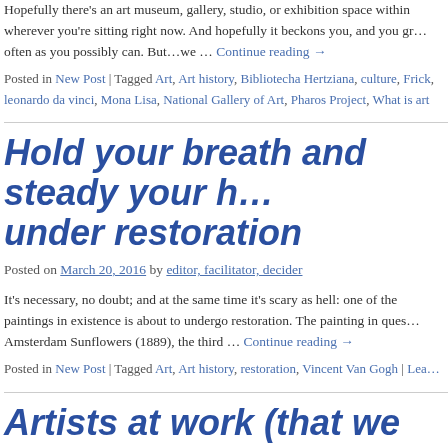Hopefully there's an art museum, gallery, studio, or exhibition space within wherever you're sitting right now. And hopefully it beckons you, and you gr… often as you possibly can. But…we … Continue reading →
Posted in New Post | Tagged Art, Art history, Bibliotecha Hertziana, culture, Frick, leonardo da vinci, Mona Lisa, National Gallery of Art, Pharos Project, What is art
Hold your breath and steady your h… under restoration
Posted on March 20, 2016 by editor, facilitator, decider
It's necessary, no doubt; and at the same time it's scary as hell: one of the paintings in existence is about to undergo restoration. The painting in ques… Amsterdam Sunflowers (1889), the third … Continue reading →
Posted in New Post | Tagged Art, Art history, restoration, Vincent Van Gogh | Lea…
Artists at work (that we never th…